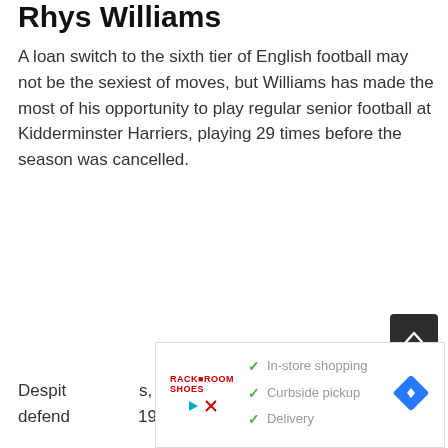Rhys Williams
A loan switch to the sixth tier of English football may not be the sexiest of moves, but Williams has made the most of his opportunity to play regular senior football at Kidderminster Harriers, playing 29 times before the season was cancelled.
[Figure (screenshot): Advertisement overlay showing store services: In-store shopping, Curbside pickup, Delivery with checkmarks, a red logo, and a navigation arrow]
Despit... s, the defend... 19s at